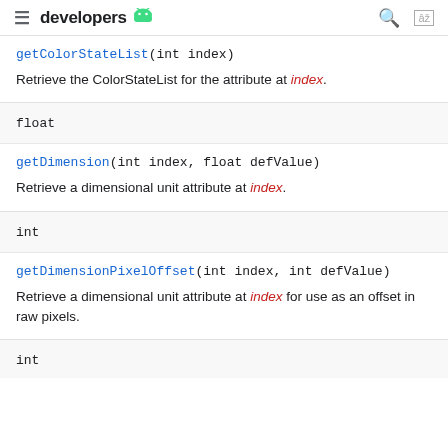developers
getColorStateList(int index)
Retrieve the ColorStateList for the attribute at index.
float
getDimension(int index, float defValue)
Retrieve a dimensional unit attribute at index.
int
getDimensionPixelOffset(int index, int defValue)
Retrieve a dimensional unit attribute at index for use as an offset in raw pixels.
int